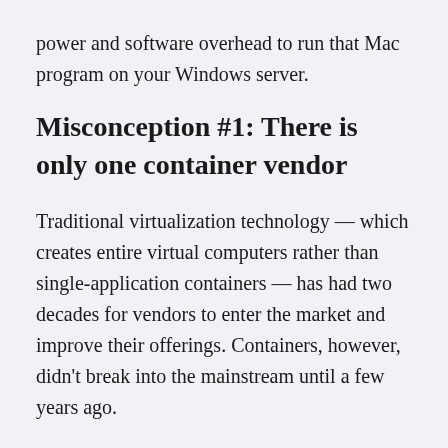power and software overhead to run that Mac program on your Windows server.
Misconception #1: There is only one container vendor
Traditional virtualization technology — which creates entire virtual computers rather than single-application containers — has had two decades for vendors to enter the market and improve their offerings. Containers, however, didn't break into the mainstream until a few years ago.
Fortunately, there are still more than enough container vendors. Docker dominates the industry